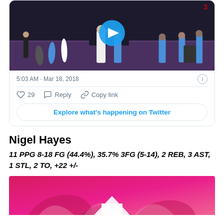[Figure (screenshot): Twitter/X embedded tweet card showing a basketball video thumbnail. A basketball game scene with players in blue and white uniforms on a dark court with Toyota sponsor banners. A blue play button circle is centered on the image.]
5:03 AM · Mar 18, 2018
♡ 29   Reply   Copy link
Explore what's happening on Twitter
Nigel Hayes
11 PPG 8-18 FG (44.4%), 35.7% 3FG (5-14), 2 REB, 3 AST, 1 STL, 2 TO, +22 +/-
[Figure (photo): Bottom portion of a pink/magenta colored image with decorative floral or abstract design elements visible at the bottom of the page.]